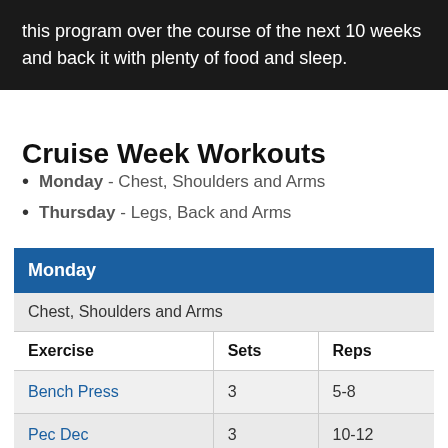this program over the course of the next 10 weeks and back it with plenty of food and sleep.
Cruise Week Workouts
Monday - Chest, Shoulders and Arms
Thursday - Legs, Back and Arms
| Monday |  |  |
| --- | --- | --- |
| Chest, Shoulders and Arms |  |  |
| Exercise | Sets | Reps |
| Bench Press | 3 | 5-8 |
| Pec Dec | 3 | 10-12 |